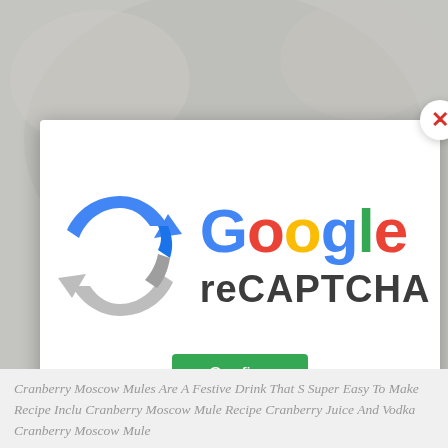[Figure (screenshot): Background food/drink photo with watermark 'ThisBeliciousMouse.com']
[Figure (screenshot): Google reCAPTCHA modal dialog with close (X) button, reCAPTCHA logo (blue/grey arrows icon), Google wordmark in multicolor, 'reCAPTCHA' text in dark, and a green Confirm button]
Cranberry Moscow Mules Are A Festive Drink That S Super Easy To Make Recipe Inclu Cranberry Moscow Mule Recipe Cranberry Juice And Vodka Cranberry Moscow Mule